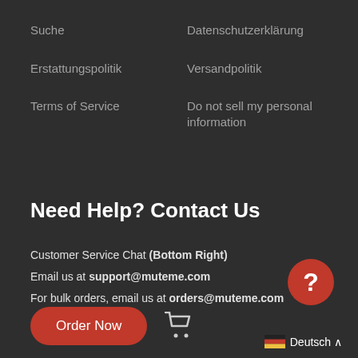Suche
Datenschutzerklärung
Erstattungspolitik
Versandpolitik
Terms of Service
Do not sell my personal information
Need Help? Contact Us
Customer Service Chat (Bottom Right)
Email us at support@muteme.com
For bulk orders, email us at orders@muteme.com
Order Now
Deutsch